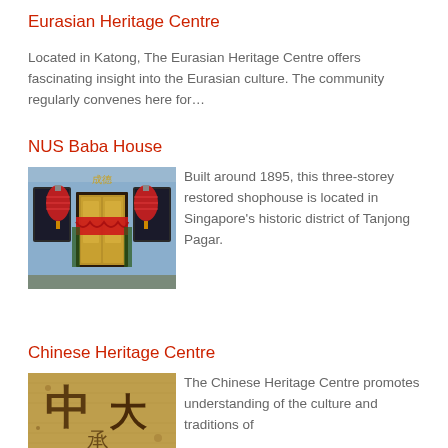Eurasian Heritage Centre
Located in Katong, The Eurasian Heritage Centre offers fascinating insight into the Eurasian culture. The community regularly convenes here for…
NUS Baba House
[Figure (photo): Photo of NUS Baba House entrance: blue-painted shophouse facade with ornate golden doors, red decorative drape, and two red lanterns flanking the entrance]
Built around 1895, this three-storey restored shophouse is located in Singapore's historic district of Tanjong Pagar.
Chinese Heritage Centre
[Figure (photo): Photo showing aged Chinese calligraphy/text on paper or fabric, with large Chinese characters visible]
The Chinese Heritage Centre promotes understanding of the culture and traditions of